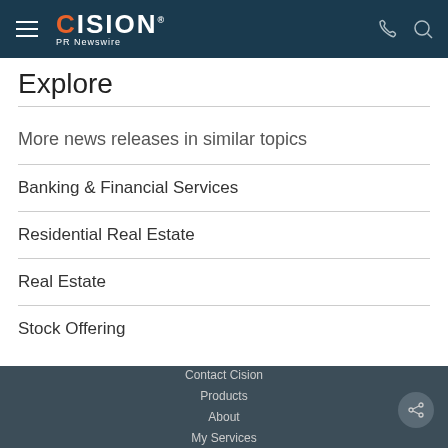CISION PR Newswire
Explore
More news releases in similar topics
Banking & Financial Services
Residential Real Estate
Real Estate
Stock Offering
Contact Cision
Products
About
My Services